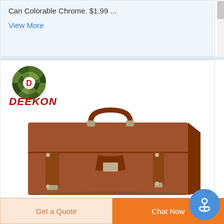Can Colorable Chrome. $1.99 ...
View More
[Figure (logo): DEEKON brand logo with camouflage circular target icon and red D letter in center, with DEEKON text in bold red italic below]
[Figure (photo): Brown leather briefcase/satchel bag with handle, buckle closures, and metal studs on white background]
Get a Quote
Chat Now